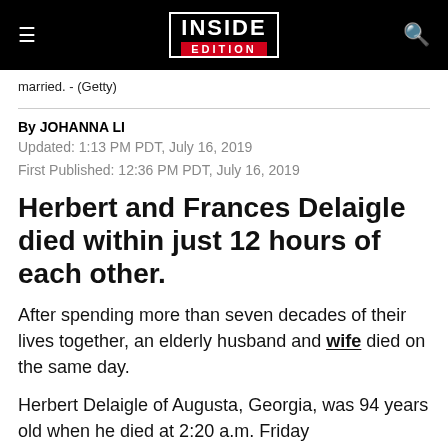INSIDE EDITION
married. - (Getty)
By JOHANNA LI
Updated: 1:13 PM PDT, July 16, 2019
First Published: 12:36 PM PDT, July 16, 2019
Herbert and Frances Delaigle died within just 12 hours of each other.
After spending more than seven decades of their lives together, an elderly husband and wife died on the same day.
Herbert Delaigle of Augusta, Georgia, was 94 years old when he died at 2:20 a.m. Friday